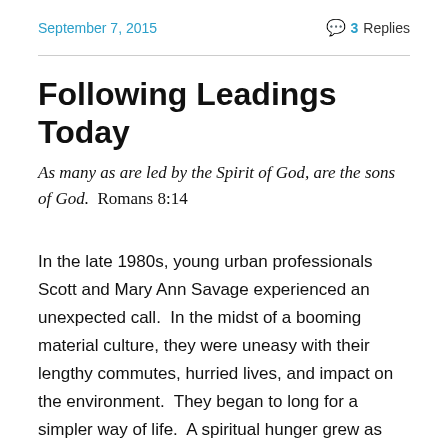September 7, 2015
3 Replies
Following Leadings Today
As many as are led by the Spirit of God, are the sons of God.  Romans 8:14
In the late 1980s, young urban professionals Scott and Mary Ann Savage experienced an unexpected call.  In the midst of a booming material culture, they were uneasy with their lengthy commutes, hurried lives, and impact on the environment.  They began to long for a simpler way of life.  A spiritual hunger grew as well, which caused them to read about the plain communities around them in Ohio.  During the home birth of their first child in 1991, they unexpectedly felt the presence of God.  Mary Ann quit her